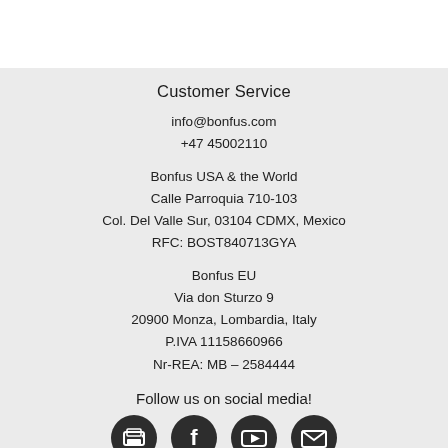Customer Service
info@bonfus.com
+47 45002110
Bonfus USA & the World
Calle Parroquia 710-103
Col. Del Valle Sur, 03104 CDMX, Mexico
RFC: BOST840713GYA
Bonfus EU
Via don Sturzo 9
20900 Monza, Lombardia, Italy
P.IVA 11158660966
Nr-REA: MB – 2584444
Follow us on social media!
[Figure (illustration): Four social media icons (printer/email, Facebook, YouTube, envelope) in dark circular buttons]